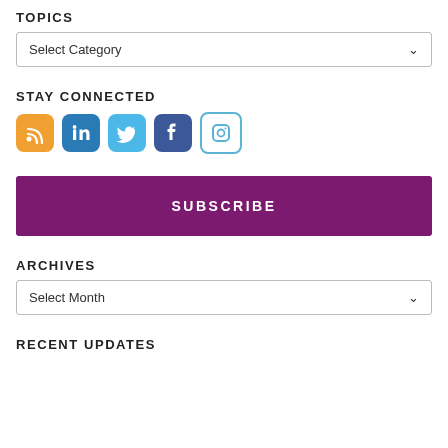TOPICS
Select Category
STAY CONNECTED
[Figure (illustration): Social media icons: RSS (orange), LinkedIn (blue), Twitter (light blue), Facebook (dark blue), Instagram (outlined)]
SUBSCRIBE
ARCHIVES
Select Month
RECENT UPDATES